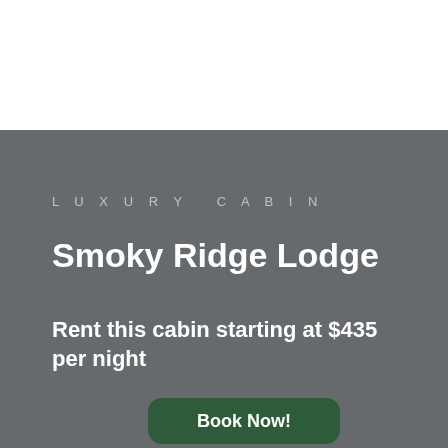LUXURY CABIN
Smoky Ridge Lodge
Rent this cabin starting at $435 per night
Book Now!